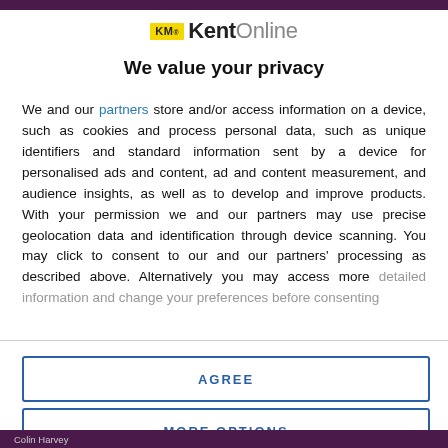[Figure (logo): KM Kent Online logo with yellow KM badge and black/grey text]
We value your privacy
We and our partners store and/or access information on a device, such as cookies and process personal data, such as unique identifiers and standard information sent by a device for personalised ads and content, ad and content measurement, and audience insights, as well as to develop and improve products. With your permission we and our partners may use precise geolocation data and identification through device scanning. You may click to consent to our and our partners' processing as described above. Alternatively you may access more detailed information and change your preferences before consenting
AGREE
MORE OPTIONS